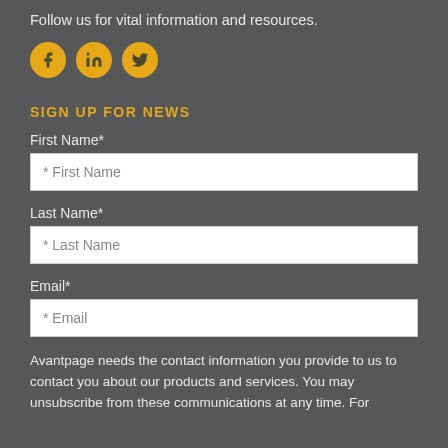Follow us for vital information and resources.
[Figure (illustration): Three social media icons (Facebook, LinkedIn, Twitter) as yellow circles with dark icons]
SIGN UP FOR NEWS
First Name*
* First Name
Last Name*
* Last Name
Email*
* Email
Avantpage needs the contact information you provide to us to contact you about our products and services. You may unsubscribe from these communications at any time. For